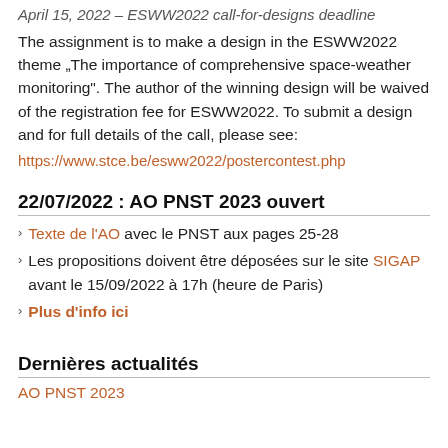April 15, 2022 – ESWW2022 call-for-designs deadline
The assignment is to make a design in the ESWW2022 theme „The importance of comprehensive space-weather monitoring". The author of the winning design will be waived of the registration fee for ESWW2022. To submit a design and for full details of the call, please see:
https://www.stce.be/esww2022/postercontest.php
22/07/2022 : AO PNST 2023 ouvert
Texte de l'AO avec le PNST aux pages 25-28
Les propositions doivent être déposées sur le site SIGAP avant le 15/09/2022 à 17h (heure de Paris)
Plus d'info ici
Dernières actualités
AO PNST 2023